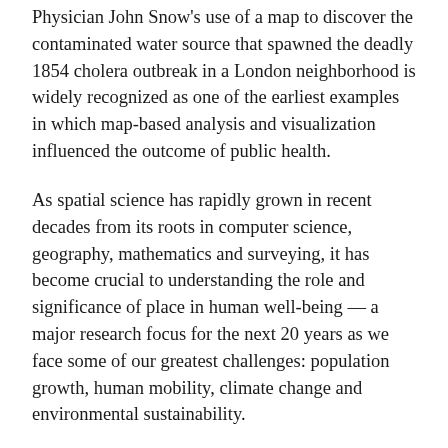Physician John Snow's use of a map to discover the contaminated water source that spawned the deadly 1854 cholera outbreak in a London neighborhood is widely recognized as one of the earliest examples in which map-based analysis and visualization influenced the outcome of public health.
As spatial science has rapidly grown in recent decades from its roots in computer science, geography, mathematics and surveying, it has become crucial to understanding the role and significance of place in human well-being — a major research focus for the next 20 years as we face some of our greatest challenges: population growth, human mobility, climate change and environmental sustainability.
To address those issues, the Spatial Sciences Institute at the USC Dornsife College of Letters, Arts and Sciences is launching a new interdisciplinary Ph.D. program in population, health and place jointly with the Department of Sociology and the Keck School of Medicine of USC's Department of Preventive Medicine.
Administered by SSI, the new doctoral program will be...